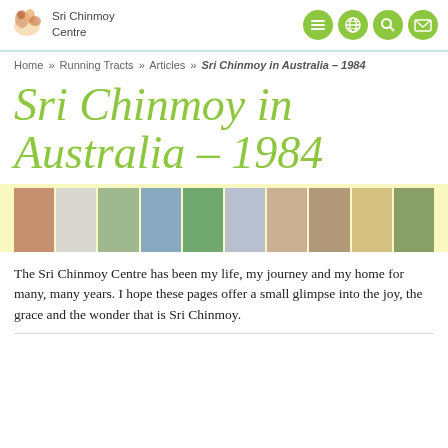Sri Chinmoy Centre
Home » Running Tracts » Articles » Sri Chinmoy in Australia – 1984
Sri Chinmoy in Australia – 1984
[Figure (photo): A horizontal strip of multiple photographs showing Sri Chinmoy and followers in various settings in Australia, 1984.]
The Sri Chinmoy Centre has been my life, my journey and my home for many, many years. I hope these pages offer a small glimpse into the joy, the grace and the wonder that is Sri Chinmoy.